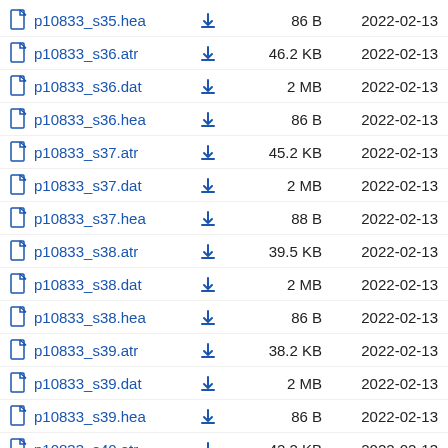p10833_s35.hea  86 B  2022-02-13
p10833_s36.atr  46.2 KB  2022-02-13
p10833_s36.dat  2 MB  2022-02-13
p10833_s36.hea  86 B  2022-02-13
p10833_s37.atr  45.2 KB  2022-02-13
p10833_s37.dat  2 MB  2022-02-13
p10833_s37.hea  88 B  2022-02-13
p10833_s38.atr  39.5 KB  2022-02-13
p10833_s38.dat  2 MB  2022-02-13
p10833_s38.hea  86 B  2022-02-13
p10833_s39.atr  38.2 KB  2022-02-13
p10833_s39.dat  2 MB  2022-02-13
p10833_s39.hea  86 B  2022-02-13
p10833_s40.atr  42.2 KB  2022-02-13